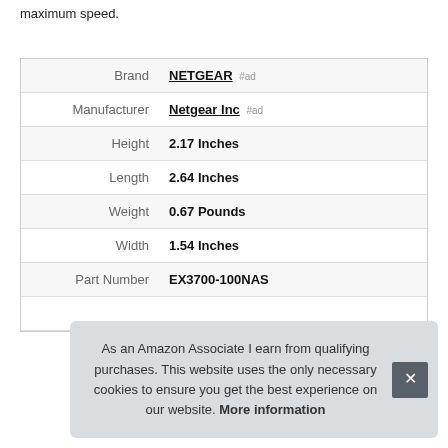maximum speed.
| Label | Value |
| --- | --- |
| Brand | NETGEAR #ad |
| Manufacturer | Netgear Inc #ad |
| Height | 2.17 Inches |
| Length | 2.64 Inches |
| Weight | 0.67 Pounds |
| Width | 1.54 Inches |
| Part Number | EX3700-100NAS |
As an Amazon Associate I earn from qualifying purchases. This website uses the only necessary cookies to ensure you get the best experience on our website. More information